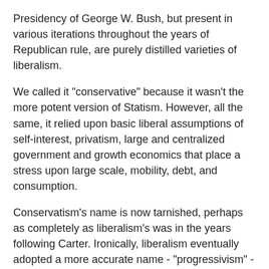Presidency of George W. Bush, but present in various iterations throughout the years of Republican rule, are purely distilled varieties of liberalism.
We called it "conservative" because it wasn't the more potent version of Statism. However, all the same, it relied upon basic liberal assumptions of self-interest, privatism, large and centralized government and growth economics that place a stress upon large scale, mobility, debt, and consumption.
Conservatism's name is now tarnished, perhaps as completely as liberalism's was in the years following Carter. Ironically, liberalism eventually adopted a more accurate name - "progressivism" - as a strategic response to the negative connotations of the word "liberal" (almost impossible, for a time, to say without a sneer).
So, I ask - is it time to retire for a time the label "conservative," good and true as it is? What could take its place - indeed, what might be just as accurate as its counterpart, "progressivism"? Are there any native labels that might be revived, or new ones that could have